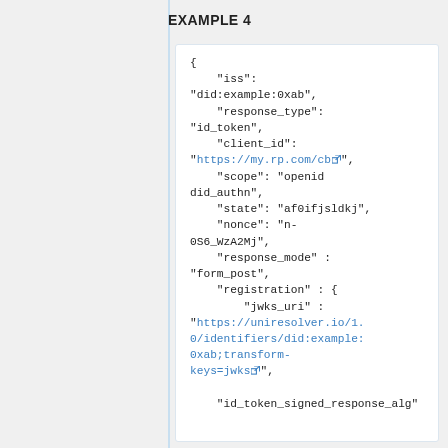EXAMPLE 4
{
    "iss": "did:example:0xab",
    "response_type": "id_token",
    "client_id": "https://my.rp.com/cb",
    "scope": "openid did_authn",
    "state": "af0ifjsldkj",
    "nonce": "n-0S6_WzA2Mj",
    "response_mode" : "form_post",
    "registration" : {
        "jwks_uri" : "https://uniresolver.io/1.0/identifiers/did:example:0xab;transform-keys=jwks",
    "id_token_signed_response_alg"